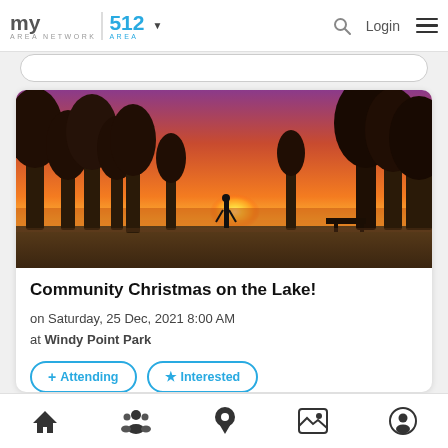my area network | 512 AREA | Login
[Figure (photo): Sunset over a lake park with silhouetted trees and a lone person standing, orange and red sky reflecting on water]
Community Christmas on the Lake!
on Saturday, 25 Dec, 2021 8:00 AM
at Windy Point Park
+ Attending   ★ Interested
Hot cacao, warm bonfires, dancing under the stars.
Home | People | Location | Gallery | Profile